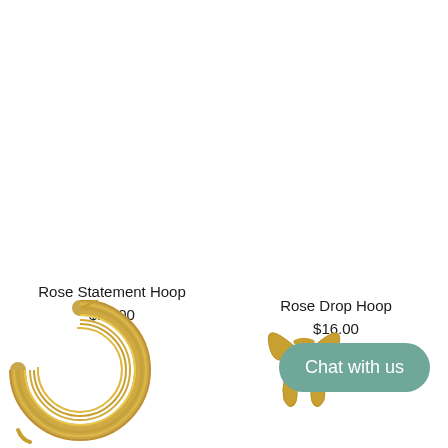Rose Statement Hoop
$20.00
Rose Drop Hoop
$16.00
[Figure (photo): Gold coiled spring hoop earring with post backing, shown from the front at the bottom left of the page.]
[Figure (photo): Gold bow drop hoop earring, shown at the bottom right of the page, partially obscured by a chat button.]
Chat with us